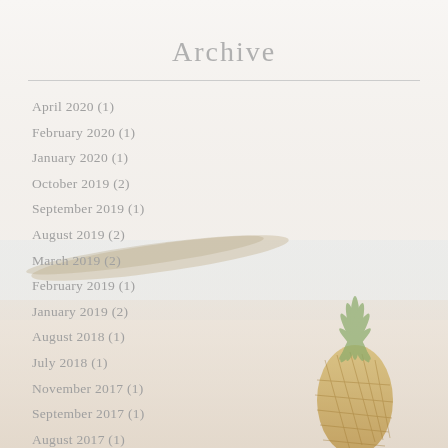Archive
April 2020 (1)
February 2020 (1)
January 2020 (1)
October 2019 (2)
September 2019 (1)
August 2019 (2)
March 2019 (2)
February 2019 (1)
January 2019 (2)
August 2018 (1)
July 2018 (1)
November 2017 (1)
September 2017 (1)
August 2017 (1)
March 2017 (1)
[Figure (illustration): Faded background image of a beach scene with a pineapple on the sand, soft pastel tones]